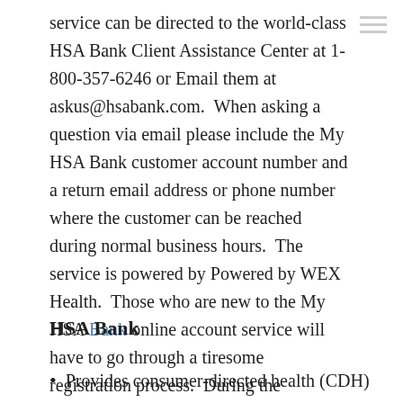service can be directed to the world-class HSA Bank Client Assistance Center at 1-800-357-6246 or Email them at askus@hsabank.com.  When asking a question via email please include the My HSA Bank customer account number and a return email address or phone number where the customer can be reached during normal business hours.  The service is powered by Powered by WEX Health.  Those who are new to the My HSA Bank online account service will have to go through a tiresome registration process.  During the registration process the customer will be asked to provide their name (first and last), zip code, and employee ID number.  Besides health savings accounts the company also provides FSAs, HRAs, and Commuter Benefits.
HSA Bank
Provides consumer-directed health (CDH) accounts